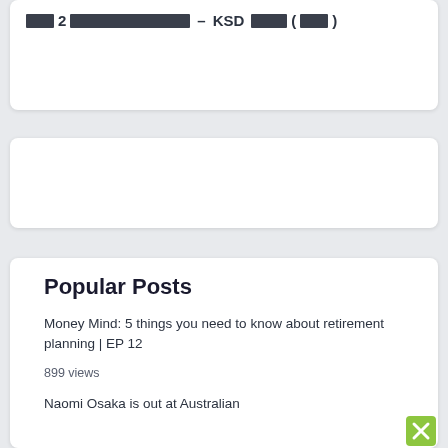[Figure (other): Partially visible card with redacted/pixelated text showing: [redacted]2[redacted] – KSD [redacted] ([redacted])]
[Figure (other): White card placeholder, likely an advertisement block]
Popular Posts
Money Mind: 5 things you need to know about retirement planning | EP 12
899 views
Naomi Osaka is out at Australian